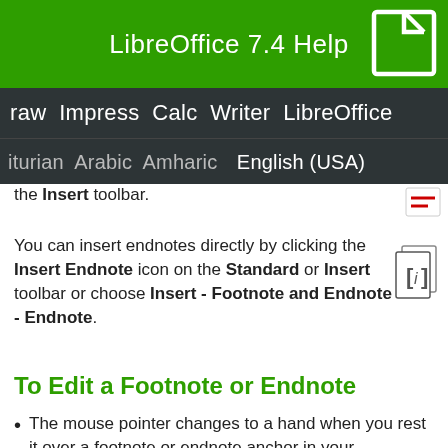LibreOffice 7.4 Help
raw  Impress  Calc  Writer  LibreOffice
iturian  Arabic  Amharic  English (USA)
the Insert toolbar.
You can insert endnotes directly by clicking the Insert Endnote icon on the Standard or Insert toolbar or choose Insert - Footnote and Endnote - Endnote.
To Edit a Footnote or Endnote
The mouse pointer changes to a hand when you rest it over a footnote or endnote anchor in your document.